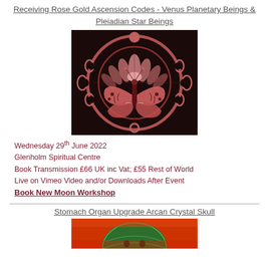Receiving Rose Gold Ascension Codes - Venus Planetary Beings & Pleiadian Star Beings
[Figure (illustration): Rose gold metallic circular mandala with butterfly and lotus flower design on dark background, surrounded by crescent moon phases]
Wednesday 29th June 2022
Glenholm Spiritual Centre
Book Transmission £66 UK inc Vat; £55 Rest of World
Live on Vimeo Video and/or Downloads After Event
Book New Moon Workshop
Stomach Organ Upgrade Arcan Crystal Skull
[Figure (photo): Partial view of a crystal skull object with red/orange background]